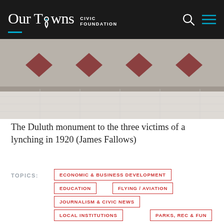Our Towns CIVIC FOUNDATION
[Figure (photo): Bottom portion of the Duluth monument showing diamond-shaped brick or tile inlays embedded in a concrete or stone wall, with a paved plaza visible below]
The Duluth monument to the three victims of a lynching in 1920 (James Fallows)
TOPICS:
ECONOMIC & BUSINESS DEVELOPMENT
EDUCATION
FLYING / AVIATION
JOURNALISM & CIVIC NEWS
LOCAL INSTITUTIONS
PARKS, REC & FUN